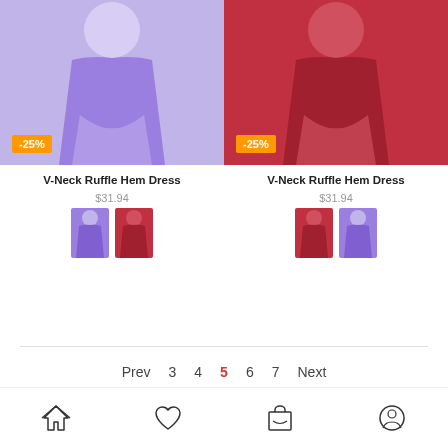[Figure (photo): Purple V-Neck Ruffle Hem Dress product photo with -25% badge]
[Figure (photo): Red V-Neck Ruffle Hem Dress product photo with -25% badge]
V-Neck Ruffle Hem Dress
$31.94
[Figure (photo): Color swatches: purple and red dress thumbnails]
V-Neck Ruffle Hem Dress
$31.94
[Figure (photo): Color swatches: red and purple dress thumbnails]
Prev  3  4  5  6  7  Next